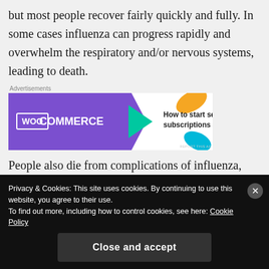but most people recover fairly quickly and fully. In some cases influenza can progress rapidly and overwhelm the respiratory and/or nervous systems, leading to death.
[Figure (other): WooCommerce advertisement banner: 'How to start selling subscriptions online']
People also die from complications of influenza, and infants, young children and the elderly have greatest risk.The most common fatal complication is bacterial
Privacy & Cookies: This site uses cookies. By continuing to use this website, you agree to their use. To find out more, including how to control cookies, see here: Cookie Policy
Close and accept